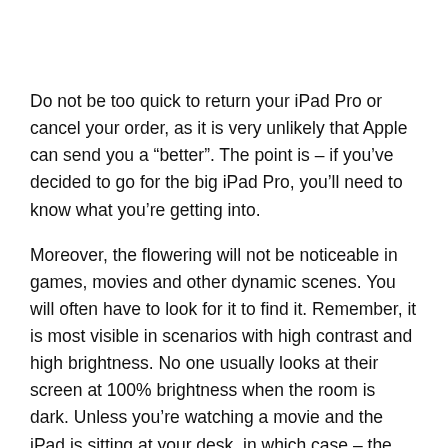Do not be too quick to return your iPad Pro or cancel your order, as it is very unlikely that Apple can send you a “better”. The point is – if you’ve decided to go for the big iPad Pro, you’ll need to know what you’re getting into.
Moreover, the flowering will not be noticeable in games, movies and other dynamic scenes. You will often have to look for it to find it. Remember, it is most visible in scenarios with high contrast and high brightness. No one usually looks at their screen at 100% brightness when the room is dark. Unless you’re watching a movie and the iPad is sitting at your desk, in which case – the problem should not be noticed as the scenes are dynamic and you’ll probably be too far away from it. In addition, the problem is most visible when you tilt the device. The photos you might see online are genuine, but